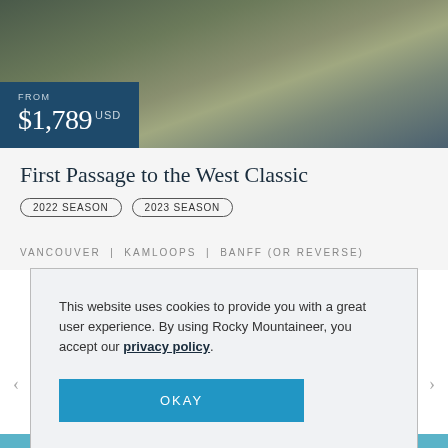[Figure (photo): Blurred hero photograph of a train interior/exterior scene with dark olive, tan and teal tones]
FROM
$1,789 USD
First Passage to the West Classic
2022 SEASON   2023 SEASON
VANCOUVER  |  KAMLOOPS  |  BANFF (OR REVERSE)
This website uses cookies to provide you with a great user experience. By using Rocky Mountaineer, you accept our privacy policy.
OKAY